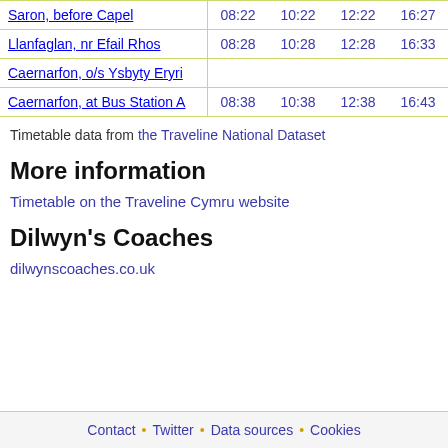| Stop | Time1 | Time2 | Time3 | Time4 | Time5 |
| --- | --- | --- | --- | --- | --- |
| Saron, before Capel | 08:22 | 10:22 | 12:22 | 16:27 |  |
| Llanfaglan, nr Efail Rhos | 08:28 | 10:28 | 12:28 | 16:33 |  |
| Caernarfon, o/s Ysbyty Eryri |  |  |  |  |  |
| Caernarfon, at Bus Station A | 08:38 | 10:38 | 12:38 | 16:43 |  |
Timetable data from the Traveline National Dataset
More information
Timetable on the Traveline Cymru website
Dilwyn's Coaches
dilwynscoaches.co.uk
Contact · Twitter · Data sources · Cookies